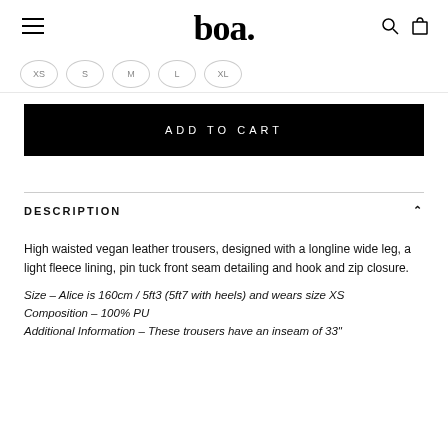boa.
XS  S  M  L  XL
ADD TO CART
DESCRIPTION
High waisted vegan leather trousers, designed with a longline wide leg, a light fleece lining, pin tuck front seam detailing and hook and zip closure.
Size – Alice is 160cm / 5ft3 (5ft7 with heels) and wears size XS
Composition – 100% PU
Additional Information – These trousers have an inseam of 33"